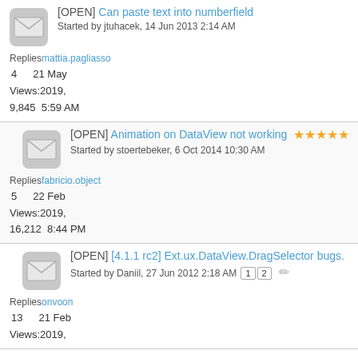[OPEN] Can paste text into numberfield
Started by jtuhacek, 14 Jun 2013 2:14 AM
Replies: mattia.pagliasso
4   21 May
Views: 2019,
9,845  5:59 AM
[OPEN] Animation on DataView not working
Started by stoertebeker, 6 Oct 2014 10:30 AM
Replies: fabricio.object
5   22 Feb
Views: 2019,
16,212  8:44 PM
[OPEN] [4.1.1 rc2] Ext.ux.DataView.DragSelector bugs.
Started by Daniil, 27 Jun 2012 2:18 AM
Replies: onvoon
13   21 Feb
Views: 2019,